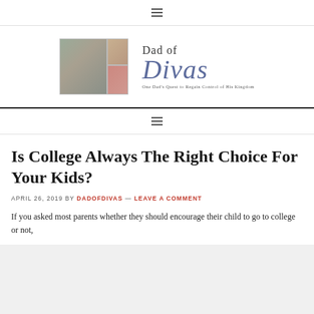≡
[Figure (logo): Dad of Divas blog logo with photo collage of a father and children, text 'Dad of Divas' and tagline 'One Dad's Quest to Regain Control of His Kingdom']
≡
Is College Always The Right Choice For Your Kids?
APRIL 26, 2019 BY DADOFDIVAS — LEAVE A COMMENT
If you asked most parents whether they should encourage their child to go to college or not,